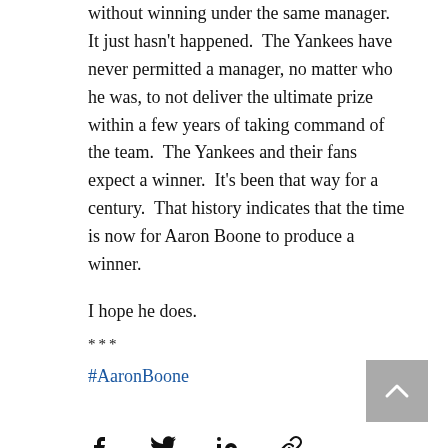without winning under the same manager.  It just hasn't happened.  The Yankees have never permitted a manager, no matter who he was, to not deliver the ultimate prize within a few years of taking command of the team.  The Yankees and their fans expect a winner.  It's been that way for a century.  That history indicates that the time is now for Aaron Boone to produce a winner.
I hope he does.
***
#AaronBoone
[Figure (infographic): Social share icons: Facebook, Twitter, LinkedIn, link/chain icon. Scroll-to-top button (grey square with upward chevron). Comment icon and ellipsis more button at bottom.]